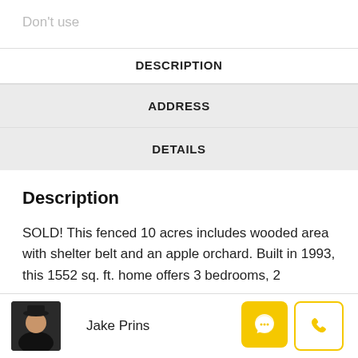Don't use
DESCRIPTION
ADDRESS
DETAILS
Description
SOLD! This fenced 10 acres includes wooded area with shelter belt and an apple orchard. Built in 1993, this 1552 sq. ft. home offers 3 bedrooms, 2
Jake Prins